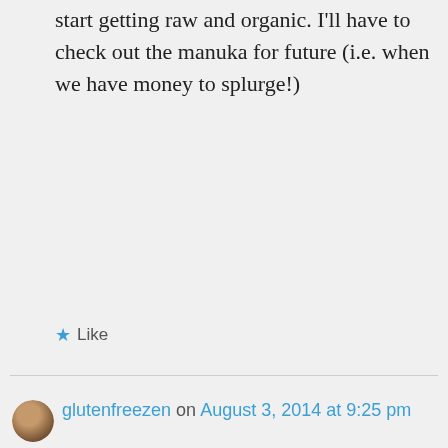start getting raw and organic. I'll have to check out the manuka for future (i.e. when we have money to splurge!)
Like
glutenfreezen on August 3, 2014 at 9:25 pm
It is a small jar. And very potent. So not the type of honey you would cook with or put on toast. I save it for tea and smoothies, that helps it go much, much, further. 🙂
Like